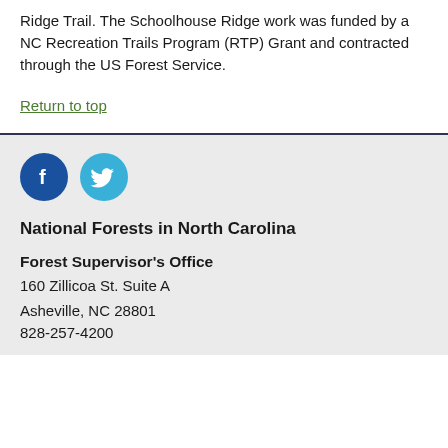Ridge Trail. The Schoolhouse Ridge work was funded by a NC Recreation Trails Program (RTP) Grant and contracted through the US Forest Service.
Return to top
[Figure (other): Facebook and Twitter social media icons]
National Forests in North Carolina
Forest Supervisor's Office
160 Zillicoa St. Suite A
Asheville, NC 28801
828-257-4200